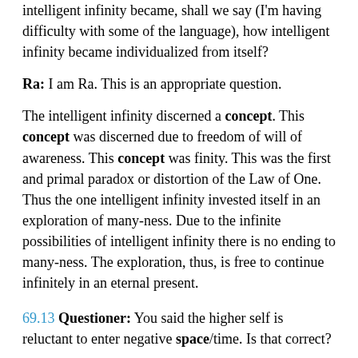intelligent infinity became, shall we say (I'm having difficulty with some of the language), how intelligent infinity became individualized from itself?
Ra: I am Ra. This is an appropriate question.
The intelligent infinity discerned a concept. This concept was discerned due to freedom of will of awareness. This concept was finity. This was the first and primal paradox or distortion of the Law of One. Thus the one intelligent infinity invested itself in an exploration of many-ness. Due to the infinite possibilities of intelligent infinity there is no ending to many-ness. The exploration, thus, is free to continue infinitely in an eternal present.
69.13 Questioner: You said the higher self is reluctant to enter negative space/time. Is that correct?